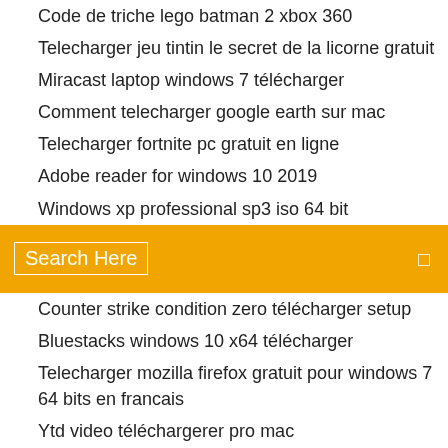Code de triche lego batman 2 xbox 360
Telecharger jeu tintin le secret de la licorne gratuit
Miracast laptop windows 7 télécharger
Comment telecharger google earth sur mac
Telecharger fortnite pc gratuit en ligne
Adobe reader for windows 10 2019
Windows xp professional sp3 iso 64 bit
[Figure (screenshot): Orange search bar with text 'Search Here' in white and a small square icon on the right]
Counter strike condition zero télécharger setup
Bluestacks windows 10 x64 télécharger
Telecharger mozilla firefox gratuit pour windows 7 64 bits en francais
Ytd video téléchargerer pro mac
Watch keeping up with the kardashians online gratuit season 16 episode 1
Supprimer un programme sur windows 7
Telecharger medal of honor 2019 pc gratuit complet
Je ne peux pas voir les commentaires sur facebook